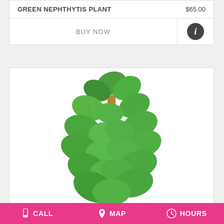GREEN NEPHTHYTIS PLANT    $65.00
BUY NOW
[Figure (photo): A tall climbing philodendron/pothos plant with large green heart-shaped leaves growing up a wooden moss pole, photographed against a white background.]
CALL   MAP   HOURS